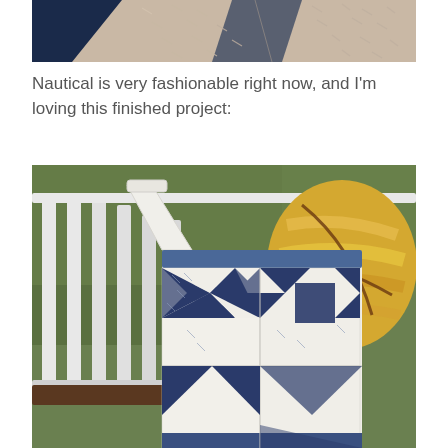[Figure (photo): Close-up of fabric with sashiko hand stitching in navy blue thread on a light beige/cream fabric background, with navy diagonal fabric pieces visible.]
Nautical is very fashionable right now, and I’m loving this finished project:
[Figure (photo): A quilted tote bag with navy blue and white star/pinwheel quilt block pattern, hanging on a white railing outdoors. A yellow striped ball or pillow is visible in the background along with green foliage.]